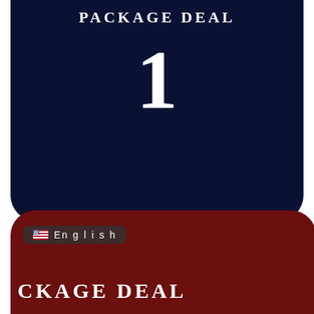PACKAGE DEAL
1
[Figure (illustration): Dark navy rounded rectangle card with 'PACKAGE DEAL' title at top and large numeral '1' centered]
[Figure (illustration): Dark red/maroon rounded rectangle card partially visible at bottom, with English language selector badge and partial text 'CKAGE DEAL']
English
CKAGE DEAL